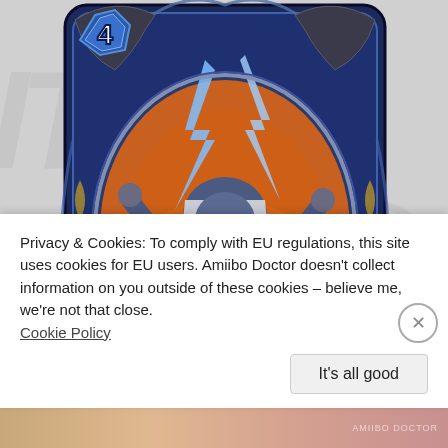[Figure (illustration): Hearthstone trading card for 'Bru'kan' - a legendary card showing a troll shaman character wielding lightning, with a blue ornate card frame, cost of 4 mana, and a golden gem below the name banner. The card has decorative dragon elements and a scroll-style name banner.]
Privacy & Cookies: To comply with EU regulations, this site uses cookies for EU users. Amiibo Doctor doesn't collect information on you outside of these cookies – believe me, we're not that close. Cookie Policy
It's all good